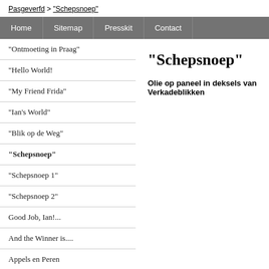Pasgeverfd > "Schepsnoep"
Home
Sitemap
Presskit
Contact
"Ontmoeting in Praag"
"Hello World!
"My Friend Frida"
"Ian's World"
"Blik op de Weg"
"Schepsnoep"
"Schepsnoep 1"
"Schepsnoep 2"
Good Job, Ian!...
And the Winner is....
Appels en Peren
Home
Over mij.
Mijn schilderijen.
Langs het tuinpad van mijn vader.
"Schepsnoep"
Olie op paneel in deksels van Verkadeblikken